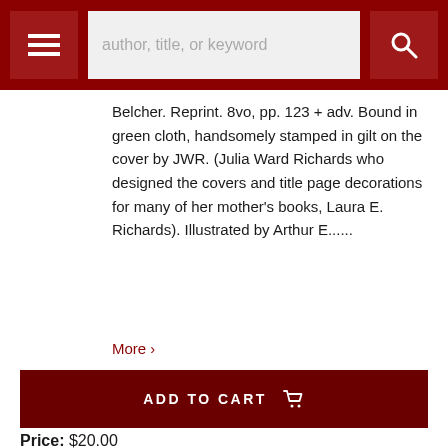author, title, or keyword
Belcher. Reprint. 8vo, pp. 123 + adv. Bound in green cloth, handsomely stamped in gilt on the cover by JWR. (Julia Ward Richards who designed the covers and title page decorations for many of her mother's books, Laura E. Richards). Illustrated by Arthur E......
More >
ADD TO CART
Price: $20.00
Item Details
Ask a Question